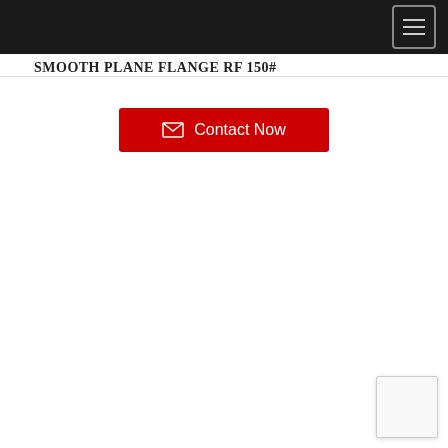Navigation bar with hamburger menu
SMOOTH PLANE FLANGE RF 150#
[Figure (other): Red 'Contact Now' button with mail envelope icon]
[Figure (other): Small white widget box in bottom-right corner]